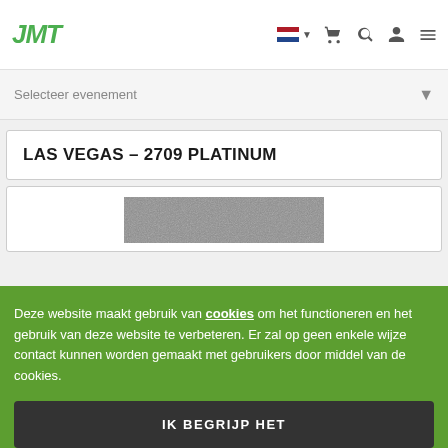JMT
Selecteer evenement
LAS VEGAS - 2709 PLATINUM
[Figure (photo): Partial product image, appears to show a gray textured surface]
Deze website maakt gebruik van cookies om het functioneren en het gebruik van deze website te verbeteren. Er zal op geen enkele wijze contact kunnen worden gemaakt met gebruikers door middel van de cookies.
IK BEGRIJP HET